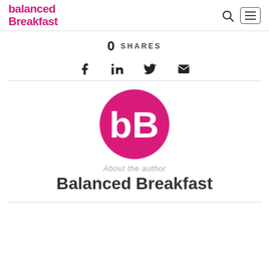balanced Breakfast
0 SHARES
[Figure (infographic): Social sharing icons: Facebook, LinkedIn, Twitter, Email]
[Figure (logo): Balanced Breakfast circular logo - magenta circle with white bB letters]
About the author
Balanced Breakfast